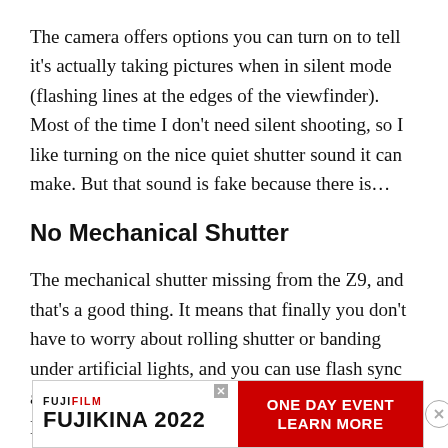The camera offers options you can turn on to tell it's actually taking pictures when in silent mode (flashing lines at the edges of the viewfinder). Most of the time I don't need silent shooting, so I like turning on the nice quiet shutter sound it can make. But that sound is fake because there is…
No Mechanical Shutter
The mechanical shutter missing from the Z9, and that's a good thing. It means that finally you don't have to worry about rolling shutter or banding under artificial lights, and you can use flash sync at 1/200 (or higher if using Auto FP with certain Nikon Speedlights or HSS with suitable third-party flashes – it works with my Flashp
[Figure (other): Fujifilm Fujikina 2022 advertisement banner with red 'ONE DAY EVENT / LEARN MORE' section on right and close button]